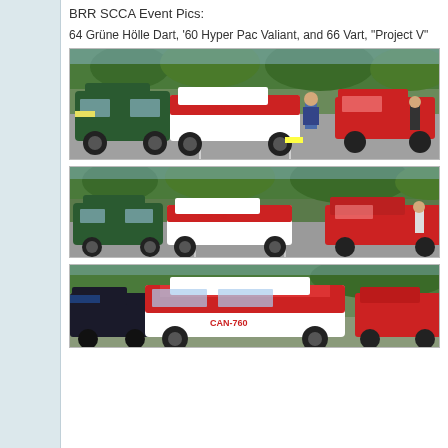BRR SCCA Event Pics:
64 Grüne Hölle Dart, '60 Hyper Pac Valiant, and 66 Vart, "Project V"
[Figure (photo): Three cars parked in a lot: a dark green compact car on the left, a white and red race car in the center with number plate markings, and red cars in the background. A man in a blue shirt stands between the center and right cars. Trees visible in background.]
[Figure (photo): Same three cars from a slightly different angle: green compact car on left, white and red race car in center, red cars behind. Similar parking lot setting with trees in background.]
[Figure (photo): Closer view focusing on the white and red race car (Valiant/Vart) in center-right, showing the front end with red and white paint scheme and racing number. Dark cars visible on the left.]